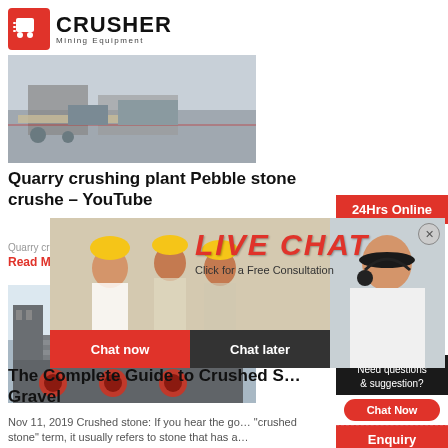[Figure (logo): Crusher Mining Equipment logo with red shopping bag icon and bold CRUSHER text]
[Figure (photo): Quarry crushing plant site with machinery and equipment]
Quarry crushing plant Pebble stone crushe – YouTube
[Figure (photo): 24Hrs Online badge - orange/red background]
Quarry crus
Read More
[Figure (photo): Live Chat overlay with workers in hard hats, LIVE CHAT text, Click for a Free Consultation, Chat now and Chat later buttons, and customer service representative on right]
[Figure (photo): Industrial building with large cylindrical drums/rollers, mountains in background]
The Complete Guide to Crushed S… Gravel
[Figure (screenshot): Right sidebar with Need questions & suggestion, Chat Now button, Enquiry section, and limingjlmofen@sina.com email]
Nov 11, 2019  Crushed stone: If you hear the go… "crushed stone" term, it usually refers to stone that has a…